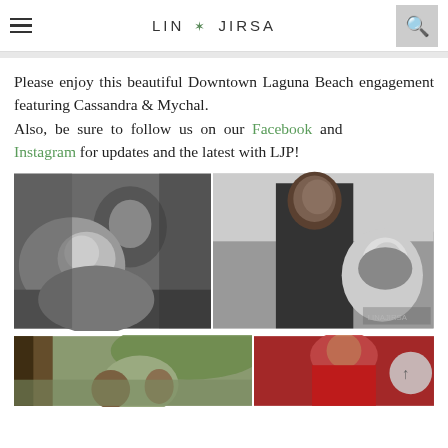LIN & JIRSA
Please enjoy this beautiful Downtown Laguna Beach engagement featuring Cassandra & Mychal. Also, be sure to follow us on our Facebook and Instagram for updates and the latest with LJP!
[Figure (photo): Two black and white engagement photos side by side. Left: couple in intimate close pose, man leaning over woman. Right: man smiling broadly, woman looking up at him laughing, outdoors setting.]
[Figure (photo): Two partially visible photos at bottom. Left: colored photo of couple outdoors near building with greenery. Right: woman in red outfit.]